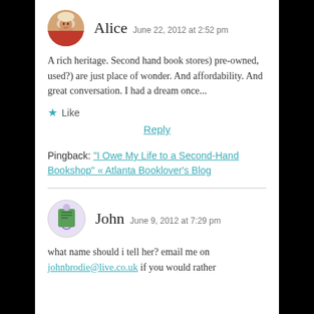Alice  June 22, 2012 at 2:52 pm
A rich heritage. Second hand book stores) pre-owned, used?) are just place of wonder. And affordability. And great conversation. I had a dream once...
★ Like
Reply
Pingback: "I Owe My Life to a Second-Hand Bookshop" « Atlanta Booklover's Blog
John  June 9, 2012 at 7:29 pm
what name should i tell her? email me on johnbrodie@live.co.uk if you would rather